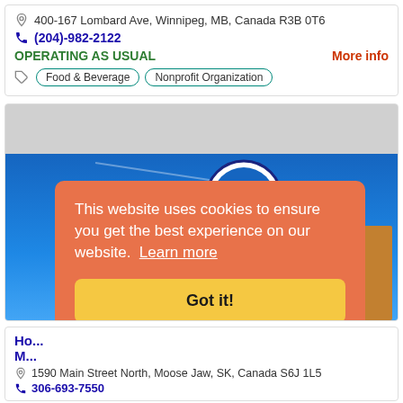400-167 Lombard Ave, Winnipeg, MB, Canada R3B 0T6
(204)-982-2122
OPERATING AS USUAL
More info
Food & Beverage  Nonprofit Organization
[Figure (photo): Best Western hotel sign with Lookout Lounge sign at night, blue sky background]
This website uses cookies to ensure you get the best experience on our website.  Learn more
Got it!
Ho... M...
1590 Main Street North, Moose Jaw, SK, Canada S6J 1L5
306-693-7550